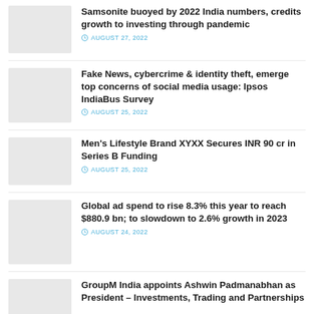Samsonite buoyed by 2022 India numbers, credits growth to investing through pandemic
AUGUST 27, 2022
Fake News, cybercrime & identity theft, emerge top concerns of social media usage: Ipsos IndiaBus Survey
AUGUST 25, 2022
Men's Lifestyle Brand XYXX Secures INR 90 cr in Series B Funding
AUGUST 25, 2022
Global ad spend to rise 8.3% this year to reach $880.9 bn; to slowdown to 2.6% growth in 2023
AUGUST 24, 2022
GroupM India appoints Ashwin Padmanabhan as President – Investments, Trading and Partnerships